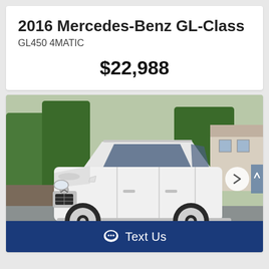2016 Mercedes-Benz GL-Class
GL450 4MATIC
$22,988
[Figure (photo): White 2016 Mercedes-Benz GL-Class GL450 4MATIC SUV photographed from a front-three-quarter angle in a parking lot with trees and a house in the background.]
Text Us